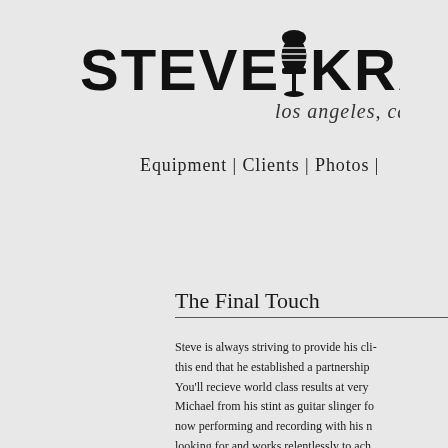[Figure (logo): Steve Kravac logo with vintage microphone icon, text reads STEVE KRAVAC los angeles, ca in bold distressed lettering]
Equipment | Clients | Photos |
The Final Touch
Steve is always striving to provide his cli- this end that he established a partnership You'll recieve world class results at very Michael from his stint as guitar slinger fo now performing and recording with his n looking for and works relentlessly to ach